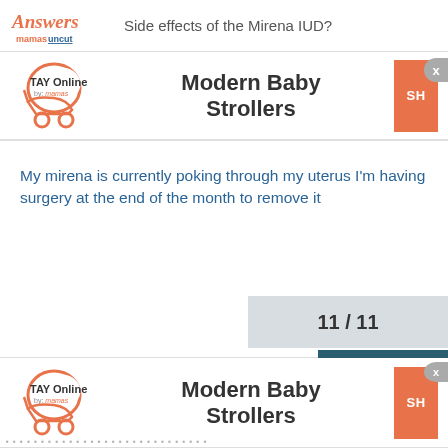Side effects of the Mirena IUD?
[Figure (logo): TAY Online by mamas - stroller logo, first instance]
Modern Baby Strollers
My mirena is currently poking through my uterus I'm having surgery at the end of the month to remove it
11 / 11
[Figure (logo): TAY Online by mamas - stroller logo, second instance]
Modern Baby Strollers